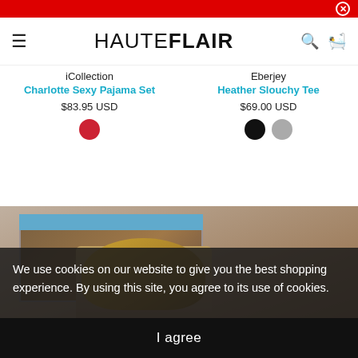HAUTEFLAIR — navigation header with close button, hamburger menu, logo, search and bag icons
iCollection
Charlotte Sexy Pajama Set
$83.95 USD
Eberjey
Heather Slouchy Tee
$69.00 USD
[Figure (photo): Product image area showing a magazine and a woman with blonde hair against a warm background]
We use cookies on our website to give you the best shopping experience. By using this site, you agree to its use of cookies.
I agree